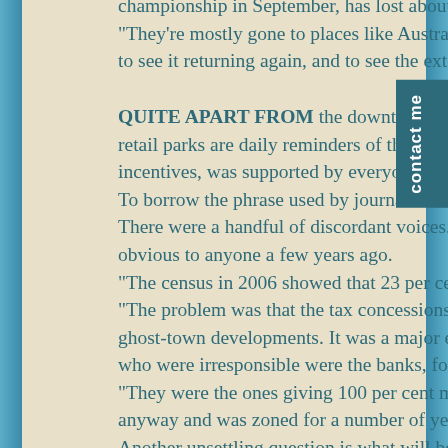championship in September, has lost about four of its squad to emigration. "They're mostly gone to places like Australia," says Cllr Sean Farrell of to see it returning again, and to see the extent of it, is quite a shock."
QUITE APART FROM the downturn, there is also the gnawing fe retail parks are daily reminders of the giddy rush to development incentives, was supported by everyone in authority: the politicians. To borrow the phrase used by journalist and commentator John H There were a handful of discordant voices. Parvez Butt, a Green Party obvious to anyone a few years ago. "The census in 2006 showed that 23 per cent of houses were empty e "The problem was that the tax concessions kept the demand going, p ghost-town developments. It was a major error of judgment, but not a s who were irresponsible were the banks, for indiscriminately lending so m "They were the ones giving 100 per cent mortgages, that's how it all anyway and was zoned for a number of years," says Cllr Sean Farrell. Another unsettling question is what will become of these empty estates. developments are aging and visibly beginning to deteriorate. Frank Kilb to finish off as many of the house as possible next year. "We sold two h market at €255,000, but now I'd take an offer of €150,000 if it came." Over at Battery Court, the scheme's developer says he's hopeful th anticipated. But even that prediction depends on the level of activity nex